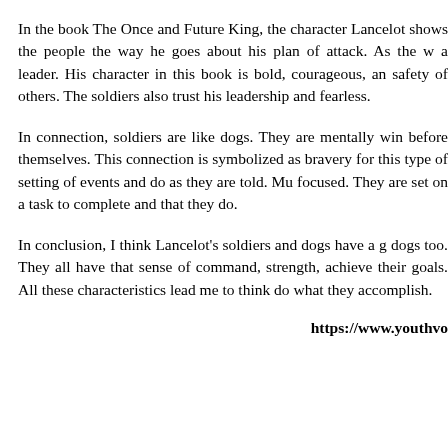In the book The Once and Future King, the character Lancelot shows the people the way he goes about his plan of attack. As the w a leader. His character in this book is bold, courageous, and safety of others. The soldiers also trust his leadership and fearless.
In connection, soldiers are like dogs. They are mentally win before themselves. This connection is symbolized as bravery for this type of setting of events and do as they are told. Mu focused. They are set on a task to complete and that they do.
In conclusion, I think Lancelot's soldiers and dogs have a g dogs too. They all have that sense of command, strength, achieve their goals. All these characteristics lead me to think do what they accomplish.
https://www.youthvo